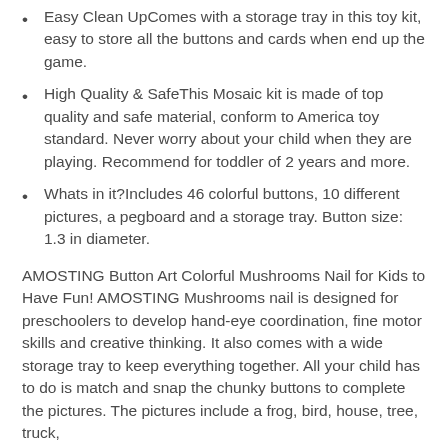Easy Clean UpComes with a storage tray in this toy kit, easy to store all the buttons and cards when end up the game.
High Quality & SafeThis Mosaic kit is made of top quality and safe material, conform to America toy standard. Never worry about your child when they are playing. Recommend for toddler of 2 years and more.
Whats in it?Includes 46 colorful buttons, 10 different pictures, a pegboard and a storage tray. Button size: 1.3 in diameter.
AMOSTING Button Art Colorful Mushrooms Nail for Kids to Have Fun! AMOSTING Mushrooms nail is designed for preschoolers to develop hand-eye coordination, fine motor skills and creative thinking. It also comes with a wide storage tray to keep everything together. All your child has to do is match and snap the chunky buttons to complete the pictures. The pictures include a frog, bird, house, tree, truck,